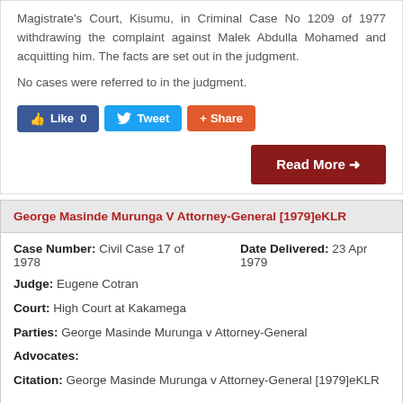Magistrate's Court, Kisumu, in Criminal Case No 1209 of 1977 withdrawing the complaint against Malek Abdulla Mohamed and acquitting him. The facts are set out in the judgment.
No cases were referred to in the judgment.
[Figure (screenshot): Social media buttons: Like 0 (Facebook), Tweet (Twitter), Share (AddThis)]
[Figure (screenshot): Read More button in dark red]
George Masinde Murunga V Attorney-General [1979]eKLR
| Case Number: Civil Case 17 of 1978 | Date Delivered: 23 Apr 1979 |
| Judge: Eugene Cotran |  |
| Court: High Court at Kakamega |  |
| Parties: George Masinde Murunga v Attorney-General |  |
| Advocates: |  |
| Citation: George Masinde Murunga v Attorney-General [1979]eKLR |  |
George Masinde Murunga v Attorney-General